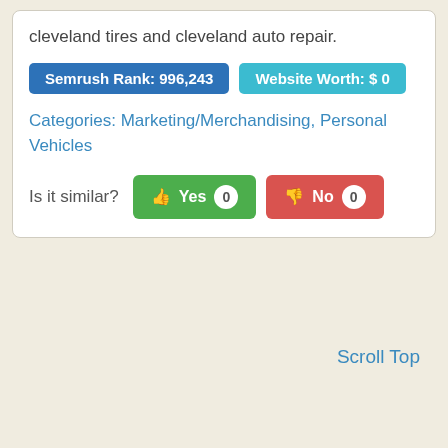cleveland tires and cleveland auto repair.
Semrush Rank: 996,243
Website Worth: $ 0
Categories: Marketing/Merchandising, Personal Vehicles
Is it similar? Yes 0  No 0
Scroll Top